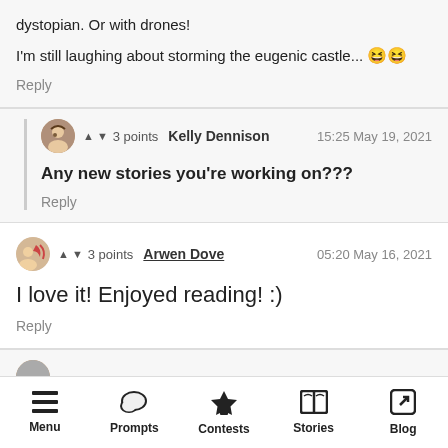dystopian. Or with drones!
I'm still laughing about storming the eugenic castle... 😆😆
Reply
3 points  Kelly Dennison  15:25 May 19, 2021
Any new stories you're working on???
Reply
3 points  Arwen Dove  05:20 May 16, 2021
I love it! Enjoyed reading! :)
Reply
Menu  Prompts  Contests  Stories  Blog